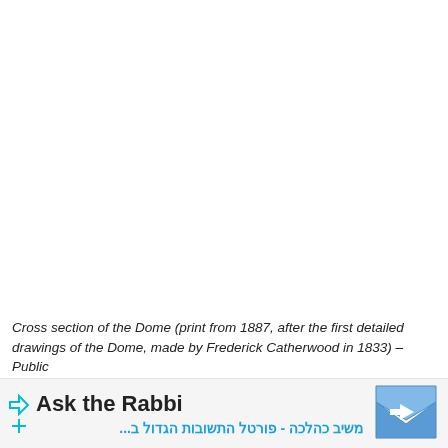[Figure (photo): White/blank area representing the upper portion of a cross section diagram image of the Dome (image not loaded or blank)]
Cross section of the Dome (print from 1887, after the first detailed drawings of the Dome, made by Frederick Catherwood in 1833) – Public
[Figure (other): Advertisement banner: Ask the Rabbi – משיב כהלכה - פורטל התשובות הגדול ב... with envelope icon and arrow icons]